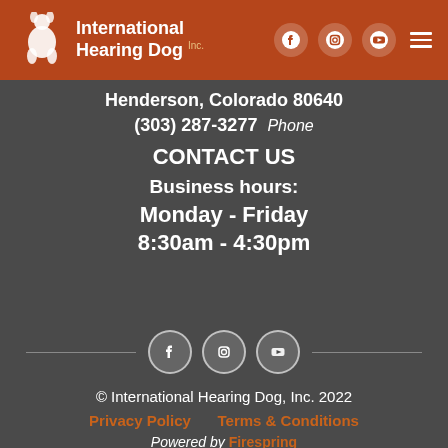[Figure (logo): International Hearing Dog Inc. logo with dog mascot and text, orange header bar with social media icons (Facebook, Instagram, YouTube) and hamburger menu]
Henderson, Colorado 80640
(303) 287-3277  Phone
CONTACT US
Business hours:
Monday - Friday
8:30am - 4:30pm
[Figure (illustration): Social media icons (Facebook, Instagram, YouTube) with horizontal divider lines on each side]
© International Hearing Dog, Inc. 2022
Privacy Policy     Terms & Conditions
Powered by Firespring